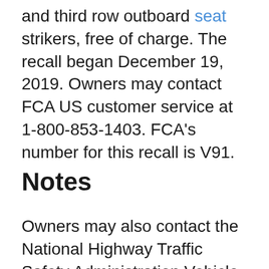and third row outboard seat strikers, free of charge. The recall began December 19, 2019. Owners may contact FCA US customer service at 1-800-853-1403. FCA's number for this recall is V91.
Notes
Owners may also contact the National Highway Traffic Safety Administration Vehicle Safety